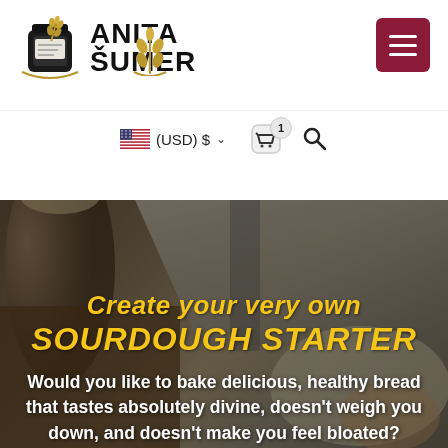[Figure (logo): Anita Šumer brand logo with jar icon and wheat graphic, text reading ANITA ŠUMER]
[Figure (other): Hamburger menu button (three horizontal lines) on dark red/maroon background]
(USD) $
[Figure (other): Shopping cart icon with badge showing 1 item, and a search (magnifying glass) icon]
[Figure (photo): Hero background photo of sourdough starter ingredients — jars of flour/starter, a baking tray, wooden surfaces with flour, warm brown tones with dark overlay]
Create your very own SOURDOUGH STARTER
Would you like to bake delicious, healthy bread that tastes absolutely divine, doesn't weigh you down, and doesn't make you feel bloated?